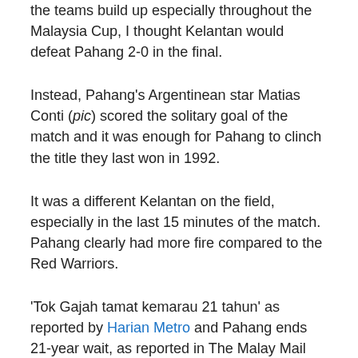the teams build up especially throughout the Malaysia Cup, I thought Kelantan would defeat Pahang 2-0 in the final.
Instead, Pahang's Argentinean star Matias Conti (pic) scored the solitary goal of the match and it was enough for Pahang to clinch the title they last won in 1992.
It was a different Kelantan on the field, especially in the last 15 minutes of the match. Pahang clearly had more fire compared to the Red Warriors.
'Tok Gajah tamat kemarau 21 tahun' as reported by Harian Metro and Pahang ends 21-year wait, as reported in The Malay Mail today.
This marks the end of the 2013 season which, sadly, has been plagued with the same problems - players not being paid wages on time, claims of match-fixing, horrible playing ground,